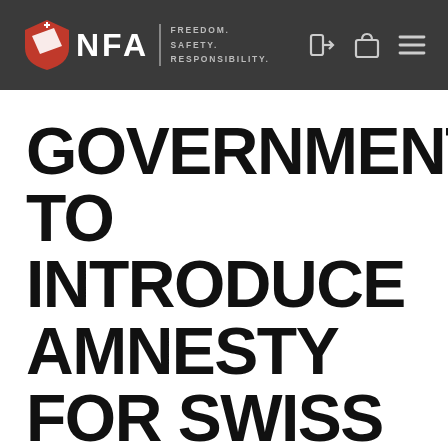NFA — FREEDOM. SAFETY. RESPONSIBILITY.
GOVERNMENT TO INTRODUCE AMNESTY FOR SWISS ARMS RIFLES, OTHERS